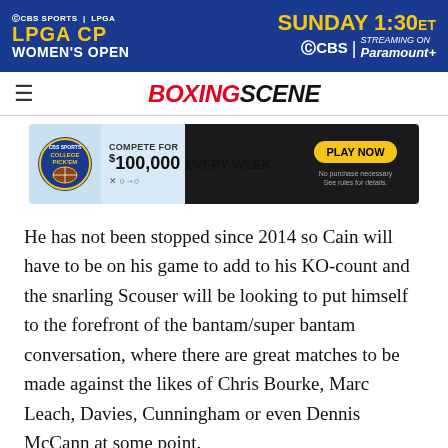[Figure (other): CBS Sports LPGA CP Women's Open advertisement banner - blue background with gold and white text, Sunday 1:30ET on CBS and Paramount+]
BOXINGSCENE
[Figure (other): CBS Sports College Pick'em advertisement - Compete for $100,000 every week, Play Now button]
He has not been stopped since 2014 so Cain will have to be on his game to add to his KO-count and the snarling Scouser will be looking to put himself to the forefront of the bantam/super bantam conversation, where there are great matches to be made against the likes of Chris Bourke, Marc Leach, Davies, Cunningham or even Dennis McCann at some point.
The product of the renowned Everton Red Triangle Gym